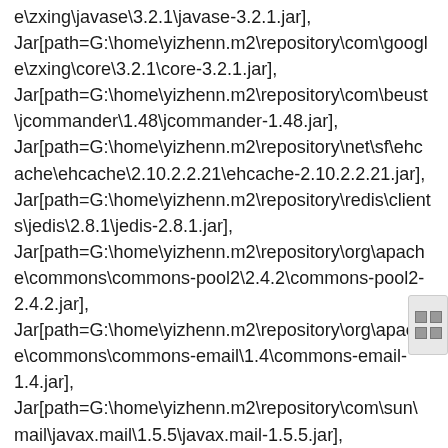e\zxing\javase\3.2.1\javase-3.2.1.jar], Jar[path=G:\home\yizhenn.m2\repository\com\google\zxing\core\3.2.1\core-3.2.1.jar], Jar[path=G:\home\yizhenn.m2\repository\com\beust\jcommander\1.48\jcommander-1.48.jar], Jar[path=G:\home\yizhenn.m2\repository\net\sf\ehcache\ehcache\2.10.2.2.21\ehcache-2.10.2.2.21.jar], Jar[path=G:\home\yizhenn.m2\repository\redis\clients\jedis\2.8.1\jedis-2.8.1.jar], Jar[path=G:\home\yizhenn.m2\repository\org\apache\commons\commons-pool2\2.4.2\commons-pool2-2.4.2.jar], Jar[path=G:\home\yizhenn.m2\repository\org\apache\commons\commons-email\1.4\commons-email-1.4.jar], Jar[path=G:\home\yizhenn.m2\repository\com\sun\mail\javax.mail\1.5.5\javax.mail-1.5.5.jar], Jar[path=G:\home\yizhenn.m2\repository\javax\activ